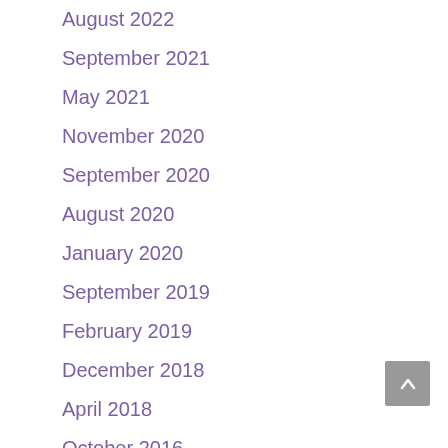August 2022
September 2021
May 2021
November 2020
September 2020
August 2020
January 2020
September 2019
February 2019
December 2018
April 2018
October 2016
September 2016